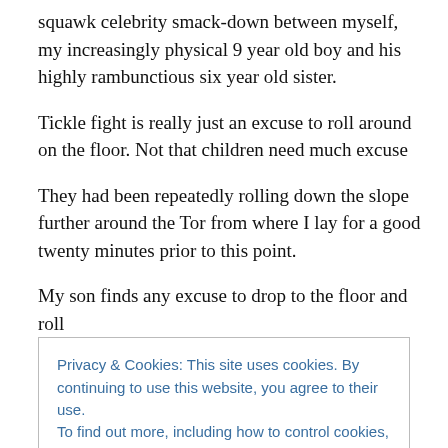squawk celebrity smack-down between myself, my increasingly physical 9 year old boy and his highly rambunctious six year old sister.
Tickle fight is really just an excuse to roll around on the floor. Not that children need much excuse
They had been repeatedly rolling down the slope further around the Tor from where I lay for a good twenty minutes prior to this point.
My son finds any excuse to drop to the floor and roll
Privacy & Cookies: This site uses cookies. By continuing to use this website, you agree to their use.
To find out more, including how to control cookies, see here: Cookie Policy
and safe place for them, lying, sitting, sprawled. The more